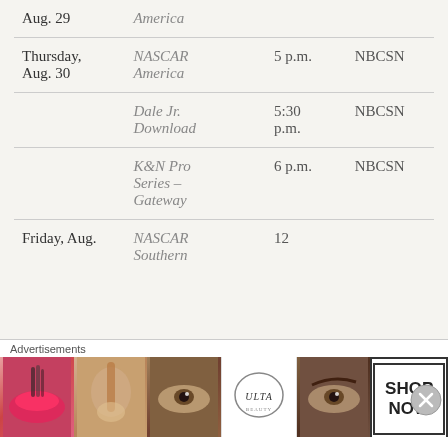| Date | Show | Time | Channel |
| --- | --- | --- | --- |
| Aug. 29 | America |  |  |
| Thursday, Aug. 30 | NASCAR America | 5 p.m. | NBCSN |
|  | Dale Jr. Download | 5:30 p.m. | NBCSN |
|  | K&N Pro Series – Gateway | 6 p.m. | NBCSN |
| Friday, Aug. | NASCAR Southern | 12 |  |
[Figure (photo): Advertisement banner showing beauty/makeup ads including lips, brush, eye, Ulta logo, eyebrow, and Shop Now button]
Advertisements